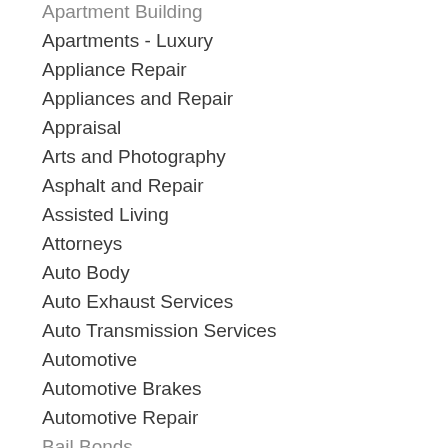Apartment Building
Apartments - Luxury
Appliance Repair
Appliances and Repair
Appraisal
Arts and Photography
Asphalt and Repair
Assisted Living
Attorneys
Auto Body
Auto Exhaust Services
Auto Transmission Services
Automotive
Automotive Brakes
Automotive Repair
Bail Bonds